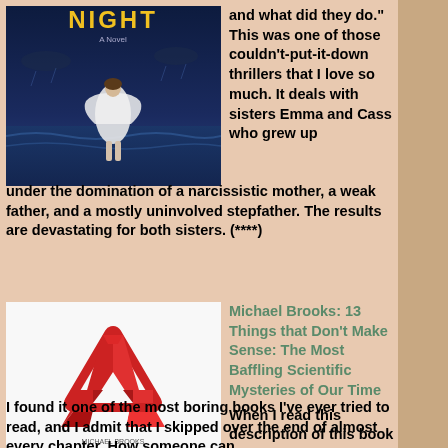[Figure (illustration): Book cover for a novel titled NIGHT showing a woman in a white dress standing in stormy water against a dark blue background]
and what did they do." This was one of those couldn't-put-it-down thrillers that I love so much. It deals with sisters Emma and Cass who grew up under the domination of a narcissistic mother, a weak father, and a mostly uninvolved stepfather. The results are devastating for both sisters. (****)
[Figure (illustration): Book cover for 13 Things that Don't Make Sense by Michael Brooks, showing a red Penrose triangle (impossible triangle) on a white background]
Michael Brooks: 13 Things that Don't Make Sense: The Most Baffling Scientific Mysteries of Our Time
When I read this description of this book I thought it would be a fascinating read. I found it one of the most boring books I've ever tried to read, and I admit that I skipped over the end of almost every chapter. How someone can